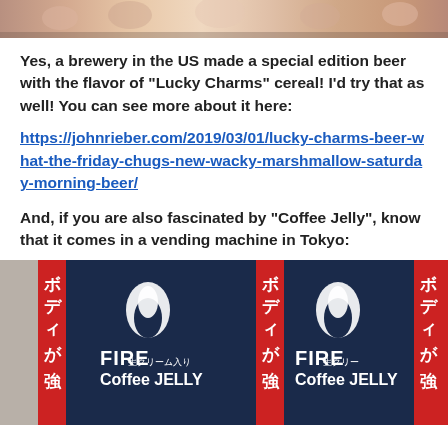[Figure (photo): Top portion of a decorative image with flowers and colorful objects, partially cropped]
Yes, a brewery in the US made a special edition beer with the flavor of “Lucky Charms” cereal! I’d try that as well! You can see more about it here:
https://johnrieber.com/2019/03/01/lucky-charms-beer-what-the-friday-chugs-new-wacky-marshmallow-saturday-morning-beer/
And, if you are also fascinated by “Coffee Jelly”, know that it comes in a vending machine in Tokyo:
[Figure (photo): Photo of FIRE Coffee JELLY products in navy blue and red packaging with Japanese text ボディが強 and white flame logo, multiple pouches visible]